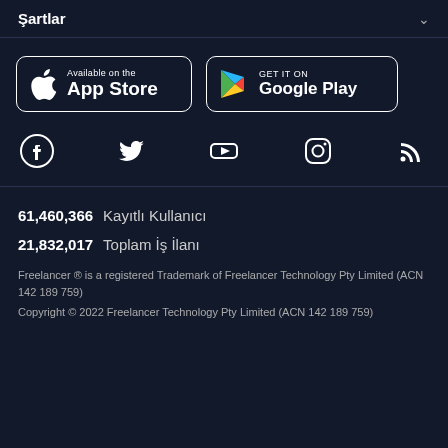Şartlar
[Figure (logo): App Store download button with Apple logo]
[Figure (logo): Google Play download button with Play logo]
[Figure (infographic): Social media icons: Facebook, Twitter, YouTube, Instagram, RSS]
61,460,366  Kayıtlı Kullanıcı
21,832,017  Toplam İş İlanı
Freelancer ® is a registered Trademark of Freelancer Technology Pty Limited (ACN 142 189 759)
Copyright © 2022 Freelancer Technology Pty Limited (ACN 142 189 759)